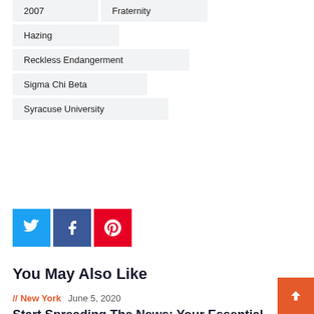2007
Fraternity
Hazing
Reckless Endangerment
Sigma Chi Beta
Syracuse University
[Figure (infographic): Social share buttons: Twitter (blue), Facebook (dark blue), Pinterest (red)]
You May Also Like
// New York   June 5, 2020
Start Spreading The News: Your Essential New York Reading List